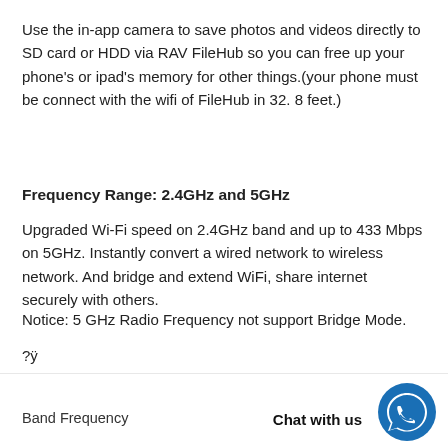Use the in-app camera to save photos and videos directly to SD card or HDD via RAV FileHub so you can free up your phone's or ipad's memory for other things.(your phone must be connect with the wifi of FileHub in 32. 8 feet.)
Frequency Range: 2.4GHz and 5GHz
Upgraded Wi-Fi speed on 2.4GHz band and up to 433 Mbps on 5GHz. Instantly convert a wired network to wireless network. And bridge and extend WiFi, share internet securely with others.
Notice: 5 GHz Radio Frequency not support Bridge Mode.
?ÿ
Basic Specifications
Band Frequency
Chat with us